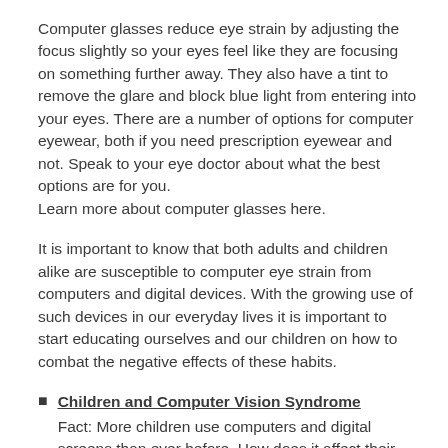Computer glasses reduce eye strain by adjusting the focus slightly so your eyes feel like they are focusing on something further away. They also have a tint to remove the glare and block blue light from entering into your eyes. There are a number of options for computer eyewear, both if you need prescription eyewear and not. Speak to your eye doctor about what the best options are for you.
Learn more about computer glasses here.
It is important to know that both adults and children alike are susceptible to computer eye strain from computers and digital devices. With the growing use of such devices in our everyday lives it is important to start educating ourselves and our children on how to combat the negative effects of these habits.
Children and Computer Vision Syndrome
Fact: More children use computers and digital screens than ever before. How does it affect their vision and eye health?